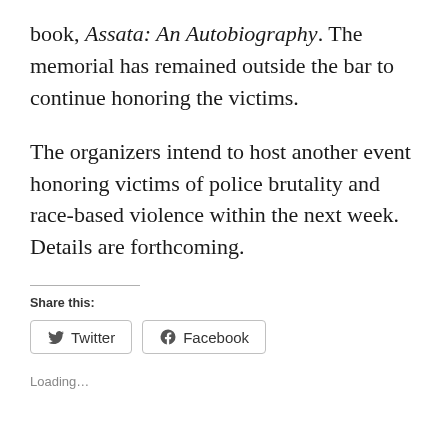book, Assata: An Autobiography. The memorial has remained outside the bar to continue honoring the victims.
The organizers intend to host another event honoring victims of police brutality and race-based violence within the next week. Details are forthcoming.
Share this:
Twitter  Facebook
Loading…